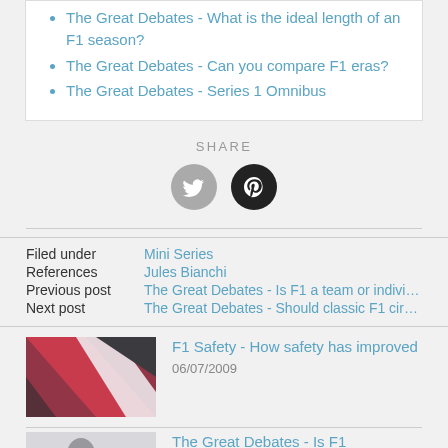The Great Debates - What is the ideal length of an F1 season?
The Great Debates - Can you compare F1 eras?
The Great Debates - Series 1 Omnibus
SHARE
[Figure (infographic): Twitter and Pinterest share icon buttons]
Filed under   Mini Series
References   Jules Bianchi
Previous post   The Great Debates - Is F1 a team or individual sport?
Next post   The Great Debates - Should classic F1 circuits be s...
[Figure (photo): Thumbnail image with red, white, black abstract diagonal stripes for F1 Safety article]
F1 Safety - How safety has improved
06/07/2009
[Figure (photo): Thumbnail image with a person for The Great Debates - Is F1 entertainment or article]
The Great Debates - Is F1 entertainment or